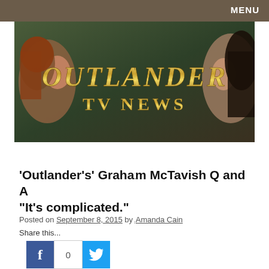MENU
[Figure (illustration): Outlander TV News banner with illustrated characters (male figure on left, female on right) against a green/dark background with gold text 'OUTLANDER TV NEWS']
'Outlander's' Graham McTavish Q and A “It’s complicated.”
Posted on September 8, 2015 by Amanda Cain
Share this...
[Figure (infographic): Social share buttons: Facebook button (blue), count box showing 0, Twitter button (light blue)]